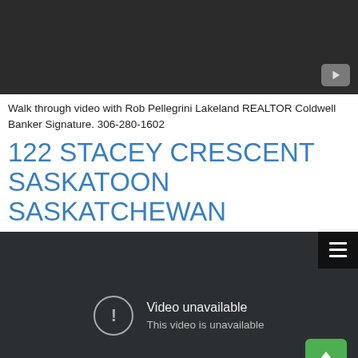[Figure (screenshot): Dark video thumbnail with YouTube play button in bottom-right corner]
Walk through video with Rob Pellegrini Lakeland REALTOR Coldwell Banker Signature. 306-280-1602
122 STACEY CRESCENT SASKATOON SASKATCHEWAN
[Figure (screenshot): Dark video player showing 'Video unavailable. This video is unavailable.' message with exclamation circle icon, menu icon in top-right, and green upload button in bottom-right]
Quick walk through video with Rob Pellegrini Coldwell Banker